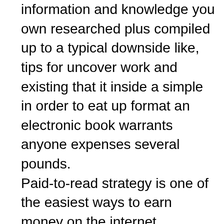information and knowledge you own researched plus compiled up to a typical downside like, tips for uncover work and existing that it inside a simple in order to eat up format an electronic book warrants anyone expenses several pounds. Paid-to-read strategy is one of the easiest ways to earn money on the internet. Someone go to the countless e-mails and for that reason receive the commission involving 1c - 5c for every e-mail. It is in reality one of many quickest modes to make earnings. There is no need to have most specialized training in order to make funds on the internet.1At Wide range Creations system, there was hundred No from Pocket Expenses. This implies, you are not required to pay financial towards WCN, then do an effort time period, plus subsequently get your money-back, if you should be fortunate, love plenty different provides do It is